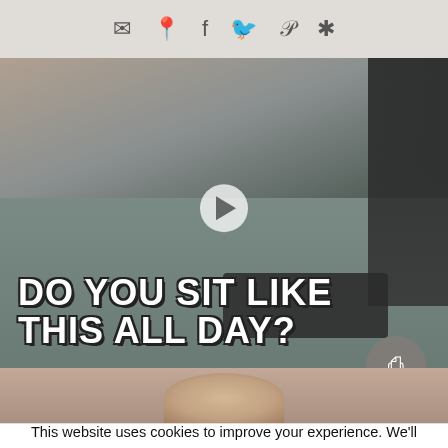Social media icons: email, location, facebook, twitter, pinterest, yelp
[Figure (photo): Video thumbnail showing a woman sitting at a desk typing on a keyboard, with text overlay reading 'DO YOU SIT LIKE THIS ALL DAY?' and a play button in the center]
[Figure (photo): Partial view of a second image below, showing the top of a person's head with light hair against a warm tan/brown background]
This website uses cookies to improve your experience. We'll assume you're ok with this, but you can opt-out if you wish.
Accept